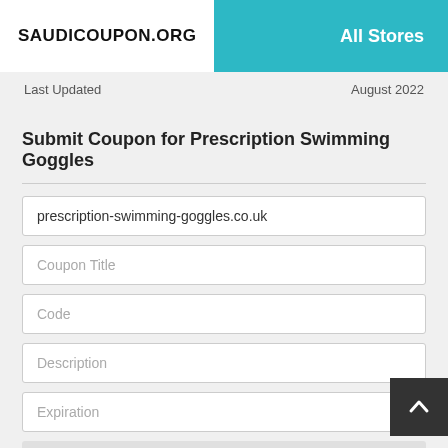SAUDICOUPON.ORG   All Stores
Last Updated   August 2022
Submit Coupon for Prescription Swimming Goggles
prescription-swimming-goggles.co.uk
Coupon Title
Code
Description
Expiration
Submit